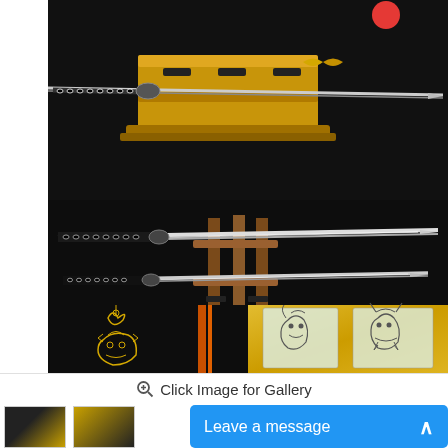[Figure (photo): Product photo of Japanese samurai swords (katana set) displayed on wooden stands against a black background, with decorative scabbards showing golden engravings of a demon/oni mask and mythological creatures, and blade engravings. Multiple views shown.]
Click Image for Gallery
[Figure (photo): Thumbnail image 1 showing swords on gold stand]
[Figure (photo): Thumbnail image 2 showing decorative scabbard]
Leave a message